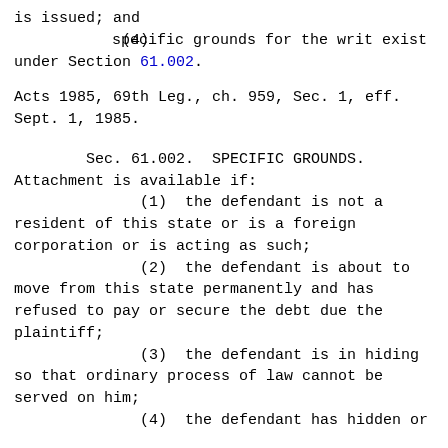is issued; and
(4)  specific grounds for the writ exist under Section 61.002.
Acts 1985, 69th Leg., ch. 959, Sec. 1, eff. Sept. 1, 1985.
Sec. 61.002.  SPECIFIC GROUNDS.
Attachment is available if:
(1)  the defendant is not a resident of this state or is a foreign corporation or is acting as such;
(2)  the defendant is about to move from this state permanently and has refused to pay or secure the debt due the plaintiff;
(3)  the defendant is in hiding so that ordinary process of law cannot be served on him;
(4)  the defendant has hidden or